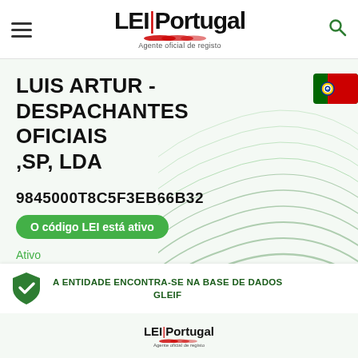LEI|Portugal – Agente oficial de registo
LUIS ARTUR - DESPACHANTES OFICIAIS ,SP, LDA
9845000T8C5F3EB66B32
O código LEI está ativo
Ativo
A ENTIDADE ENCONTRA-SE NA BASE DE DADOS GLEIF
LEI|Portugal